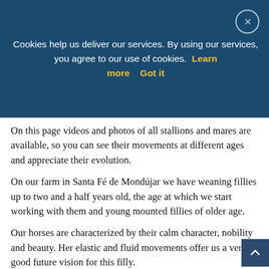[Figure (screenshot): Cookie consent banner with dark blue background. Text reads: 'Cookies help us deliver our services. By using our services, you agree to our use of cookies. Learn more  Got it' with 'Learn more' and 'Got it' in bold yellow. A close button (X in a circle) is in the top right corner.]
On this page videos and photos of all stallions and mares are available, so you can see their movements at different ages and appreciate their evolution.
On our farm in Santa Fé de Mondújar we have weaning fillies up to two and a half years old, the age at which we start working with them and young mounted fillies of older age.
Our horses are characterized by their calm character, nobility and beauty. Her elastic and fluid movements offer us a very good future vision for this filly.
At Yeguada Dimoba we breed horses with the distinctive characteristics of a Purebred Spanish that is appreciated from a very young age. Our specimens have a good morphology and height suitable for competitions...